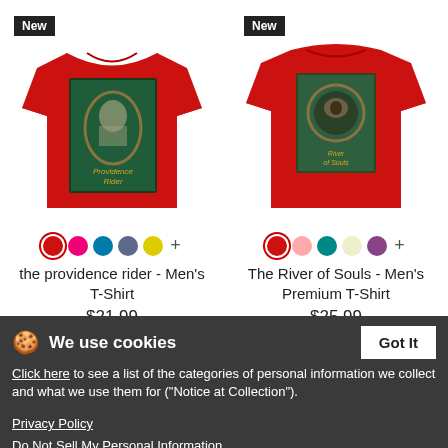[Figure (photo): Red men's t-shirt with 'The Providence Rider' book cover graphic on back, 'New' badge in top left corner]
the providence rider - Men's T-Shirt
$21.99
[Figure (photo): Red men's premium t-shirt with 'The River of Souls' book cover graphic on front, 'New' badge in top left corner]
The River of Souls - Men's Premium T-Shirt
$25.99
We use cookies
Click here to see a list of the categories of personal information we collect and what we use them for ("Notice at Collection").
Privacy Policy
Do Not Sell My Personal Information
By using this website, I agree to the Terms and Conditions